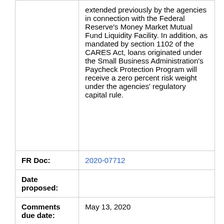| Field | Value |
| --- | --- |
|  | extended previously by the agencies in connection with the Federal Reserve’s Money Market Mutual Fund Liquidity Facility. In addition, as mandated by section 1102 of the CARES Act, loans originated under the Small Business Administration’s Paycheck Protection Program will receive a zero percent risk weight under the agencies’ regulatory capital rule. |
| FR Doc: | 2020-07712 |
| Date proposed: |  |
| Comments due date: | May 13, 2020 |
| Final rule effective date: | April 13, 2020 |